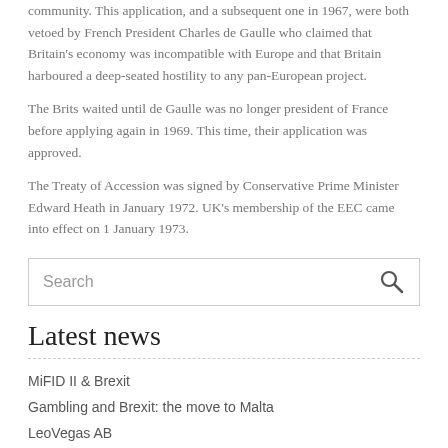community. This application, and a subsequent one in 1967, were both vetoed by French President Charles de Gaulle who claimed that Britain's economy was incompatible with Europe and that Britain harboured a deep-seated hostility to any pan-European project.
The Brits waited until de Gaulle was no longer president of France before applying again in 1969. This time, their application was approved.
The Treaty of Accession was signed by Conservative Prime Minister Edward Heath in January 1972. UK's membership of the EEC came into effect on 1 January 1973.
[Figure (other): Search input box with magnifying glass icon]
Latest news
MiFID II & Brexit
Gambling and Brexit: the move to Malta
LeoVegas AB